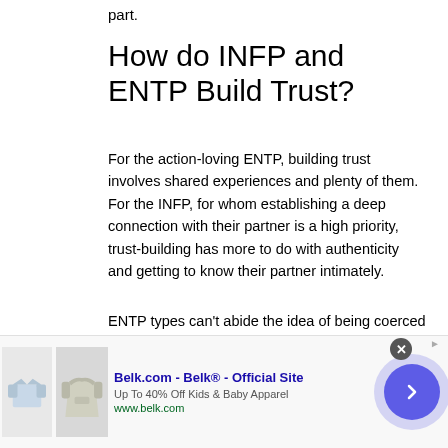part.
How do INFP and ENTP Build Trust?
For the action-loving ENTP, building trust involves shared experiences and plenty of them. For the INFP, for whom establishing a deep connection with their partner is a high priority, trust-building has more to do with authenticity and getting to know their partner intimately.
ENTP types can't abide the idea of being coerced or manipulated by others, so trust doesn't necessarily come easily for them. They are also known to...
[Figure (infographic): Advertisement banner for Belk.com showing children's apparel with text 'Belk.com - Belk® - Official Site', 'Up To 40% Off Kids & Baby Apparel', 'www.belk.com', and a navigation arrow button]